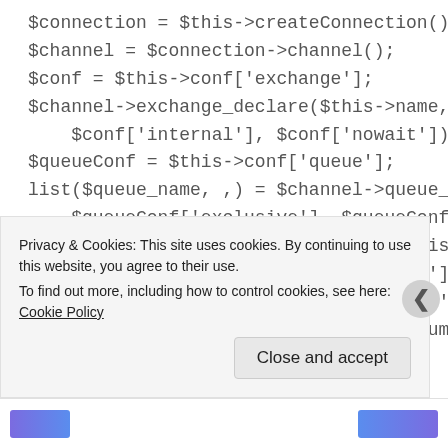$connection = $this->createConnection();
$channel = $connection->channel();
$conf = $this->conf['exchange'];
$channel->exchange_declare($this->name, 't
    $conf['internal'], $conf['nowait']);
$queueConf = $this->conf['queue'];
list($queue_name, ,) = $channel->queue_decla
    $queueConf['exclusive'], $queueConf['auto_d
$channel->queue_bind($queue_name, $this->
$consumerConf = $this->conf['consumer'];
$channel->basic_consume($queue_name, '', $
    $consumerConf['exclusive'], $consumerCon
Privacy & Cookies: This site uses cookies. By continuing to use this website, you agree to their use.
To find out more, including how to control cookies, see here: Cookie Policy
Close and accept